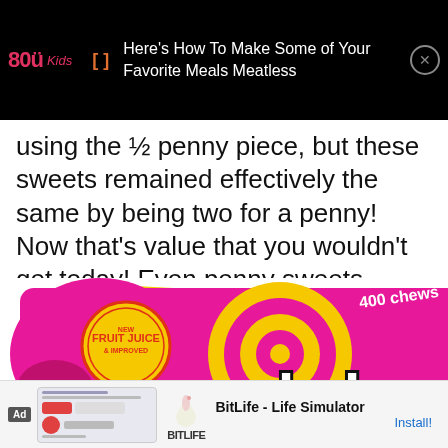80Kids [] Here's How To Make Some of Your Favorite Meals Meatless
using the 1/2 penny piece, but these sweets remained effectively the same by being two for a penny! Now that's value that you wouldn't get today! Even penny sweets aren't a penny anymore!
[Figure (photo): Colorful candy bag with pink and yellow design showing 'Fruit Juice' branding with '400 chews' and 'Salad' text]
Ad BitLife - Life Simulator Install!